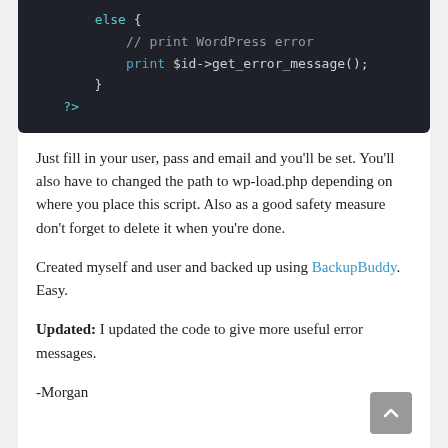[Figure (screenshot): Dark-themed code block showing PHP else block with a comment '// print WordPress error' and 'print $id->get_error_message();' followed by closing brace and '?>']
Just fill in your user, pass and email and you'll be set. You'll also have to changed the path to wp-load.php depending on where you place this script. Also as a good safety measure don't forget to delete it when you're done.
Created myself and user and backed up using BackupBuddy. Easy.
Updated: I updated the code to give more useful error messages.
-Morgan